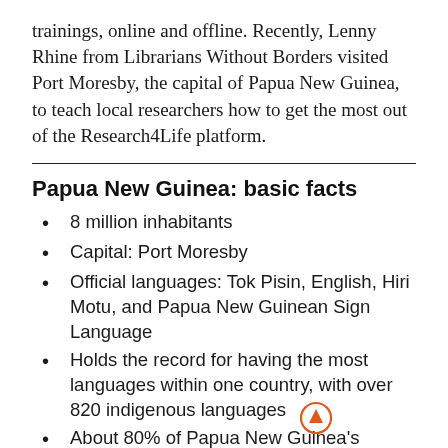trainings, online and offline. Recently, Lenny Rhine from Librarians Without Borders visited Port Moresby, the capital of Papua New Guinea, to teach local researchers how to get the most out of the Research4Life platform.
Papua New Guinea: basic facts
8 million inhabitants
Capital: Port Moresby
Official languages: Tok Pisin, English, Hiri Motu, and Papua New Guinean Sign Language
Holds the record for having the most languages within one country, with over 820 indigenous languages
About 80% of Papua New Guinea's inhabitants live in rural areas